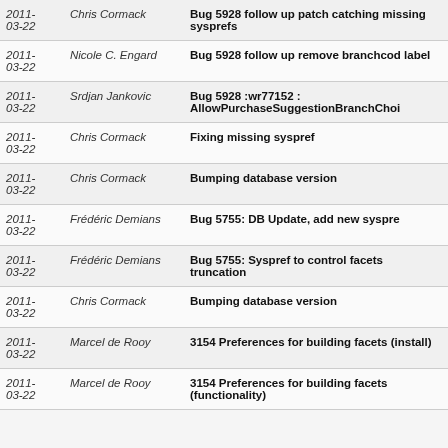| Date | Author | Commit message |
| --- | --- | --- |
| 2011-03-22 | Chris Cormack | Bug 5928 follow up patch catching missing sysprefs |
| 2011-03-22 | Nicole C. Engard | Bug 5928 follow up remove branchcode label |
| 2011-03-22 | Srdjan Jankovic | Bug 5928 :wr77152 : AllowPurchaseSuggestionBranchChoice |
| 2011-03-22 | Chris Cormack | Fixing missing syspref |
| 2011-03-22 | Chris Cormack | Bumping database version |
| 2011-03-22 | Frédéric Demians | Bug 5755: DB Update, add new syspref |
| 2011-03-22 | Frédéric Demians | Bug 5755: Syspref to control facets truncation |
| 2011-03-22 | Chris Cormack | Bumping database version |
| 2011-03-22 | Marcel de Rooy | 3154 Preferences for building facets (install) |
| 2011-03-22 | Marcel de Rooy | 3154 Preferences for building facets (functionality) |